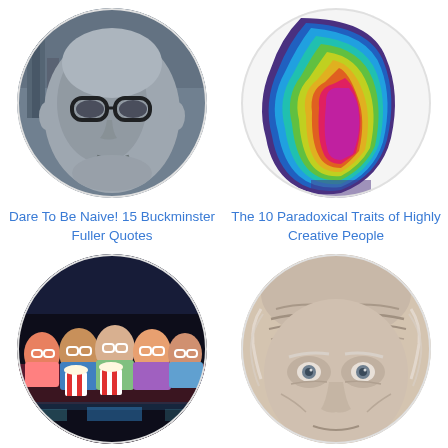[Figure (photo): Circular photo of Buckminster Fuller mural - grayscale painted portrait of man with thick glasses, cityscape in background]
Dare To Be Naive! 15 Buckminster Fuller Quotes
[Figure (illustration): Circular colorful illustration of layered human head silhouettes in rainbow colors representing creativity]
The 10 Paradoxical Traits of Highly Creative People
[Figure (photo): Circular photo of children watching 3D movie in cinema wearing 3D glasses and holding popcorn]
10 Classic Kids Films That
[Figure (photo): Circular close-up photo of elderly bald man with prominent forehead wrinkles]
5 Habits of Eccentric